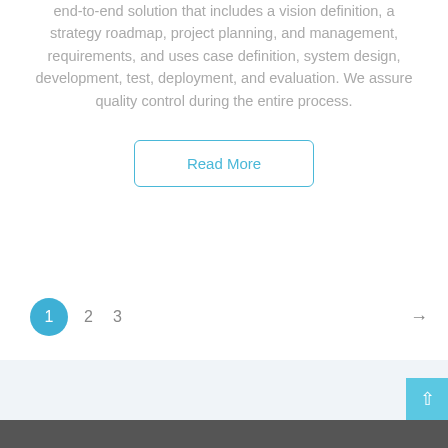end-to-end solution that includes a vision definition, a strategy roadmap, project planning, and management, requirements, and uses case definition, system design, development, test, deployment, and evaluation. We assure quality control during the entire process.
Read More
1  2  3  →